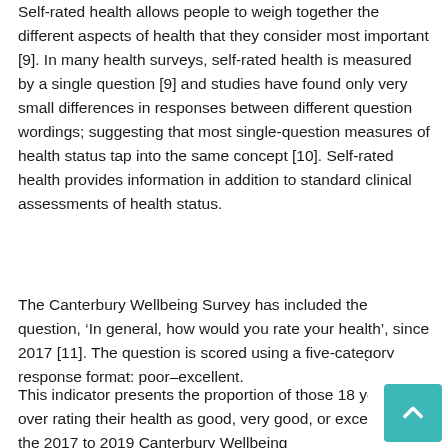Self-rated health allows people to weigh together the different aspects of health that they consider most important [9]. In many health surveys, self-rated health is measured by a single question [9] and studies have found only very small differences in responses between different question wordings; suggesting that most single-question measures of health status tap into the same concept [10]. Self-rated health provides information in addition to standard clinical assessments of health status.
The Canterbury Wellbeing Survey has included the question, 'In general, how would you rate your health', since 2017 [11]. The question is scored using a five-category response format: poor–excellent.
This indicator presents the proportion of those 18 years and over rating their health as good, very good, or excellent, in the 2017 to 2019 Canterbury Wellbeing